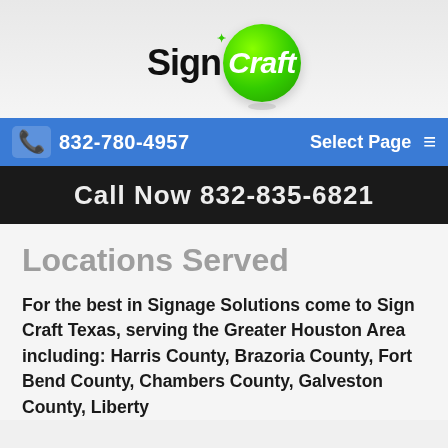[Figure (logo): SignCraft logo: black text 'Sign' with green sparkle, followed by a green glossy circle containing italic white text 'Craft']
832-780-4957  Select Page
[Figure (photo): Dark banner image with white bold text reading 'Call Now 832-835-6821']
Locations Served
For the best in Signage Solutions come to Sign Craft Texas, serving the Greater Houston Area including: Harris County, Brazoria County, Fort Bend County, Chambers County, Galveston County, Liberty